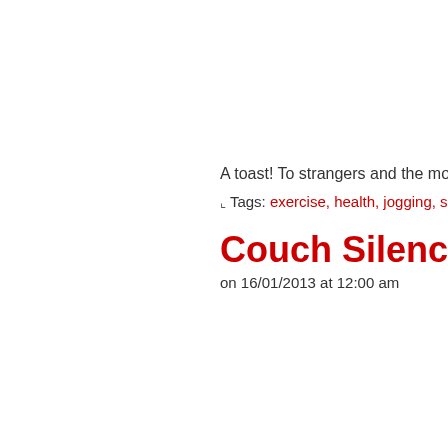A toast! To strangers and the motivati…
↳ Tags: exercise, health, jogging, self, socia…
Couch Silencer
on 16/01/2013 at 12:00 am